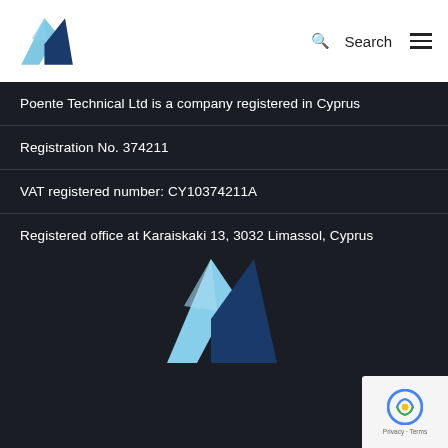[Figure (logo): Poente Technical Ltd logo - airplane tail fin shape in light blue and dark navy blue, shown in navigation bar]
Search
Poente Technical Ltd is a company registered in Cyprus
Registration No. 374211
VAT registered number: CY10374211A
Registered office at Karaiskaki 13, 3032 Limassol, Cyprus
[Figure (logo): Poente Technical Ltd large logo centered in dark area - airplane tail fin shape in light blue and dark navy blue]
[Figure (logo): reCAPTCHA badge in bottom right corner]